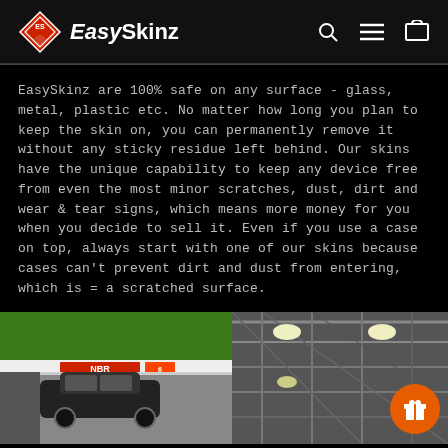EasySkinz
EasySkinz are 100% safe on any surface - glass, metal, plastic etc. No matter how long you plan to keep the skin on, you can permanently remove it without any sticky residue left behind. Our skins have the unique capability to keep any device free from even the most minor scratches, dust, dirt and wear & tear signs, which means more money for you when you decide to sell it. Even if you use a case on top, always start with one of our skins because cases can't prevent dirt and dust from entering, which is = a scratched surface.
[Figure (photo): Left photo: car on a racetrack with green grass and track barriers, NBR signage visible]
[Figure (photo): Right photo: industrial ceiling structure with metal beams and lighting, orange gift/reward button overlay]